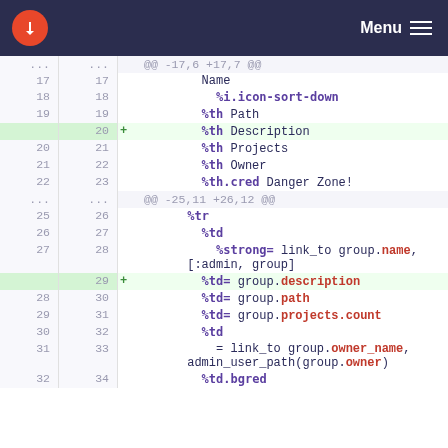Menu (navbar with logo)
[Figure (screenshot): A code diff view showing additions to a Haml template file. The diff shows line numbers on left and right sides, a '+' marker for added lines (highlighted in green), and syntax-highlighted Haml/Ruby code. Two hunks are shown: @@ -17,6 +17,7 @@ and @@ -25,11 +26,12 @@. The added lines are: '%th Description' at line 20 and '%td= group.description' at line 29.]